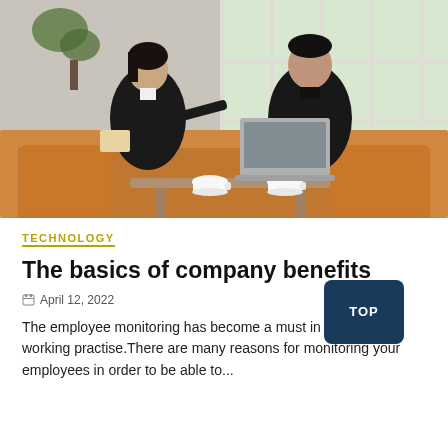[Figure (photo): Two people in business attire sitting on a couch with a laptop and coffee cups on a table in a bright office/lounge setting. A woman on the left holds a notebook and points at a laptop held by a man on the right.]
TECHNOLOGY
The basics of company benefits
April 12, 2022
The employee monitoring has become a must in the re working practise.There are many reasons for monitoring your employees in order to be able to...